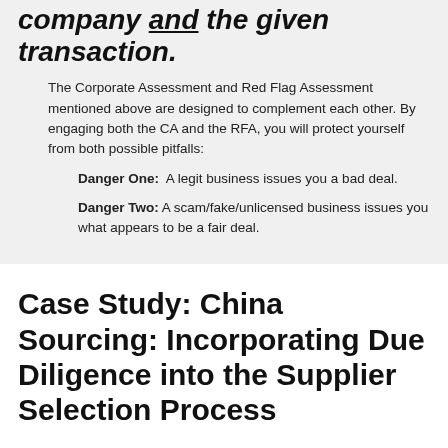company and the given transaction.
The Corporate Assessment and Red Flag Assessment mentioned above are designed to complement each other. By engaging both the CA and the RFA, you will protect yourself from both possible pitfalls:
Danger One: A legit business issues you a bad deal.
Danger Two: A scam/fake/unlicensed business issues you what appears to be a fair deal.
Case Study: China Sourcing: Incorporating Due Diligence into the Supplier Selection Process